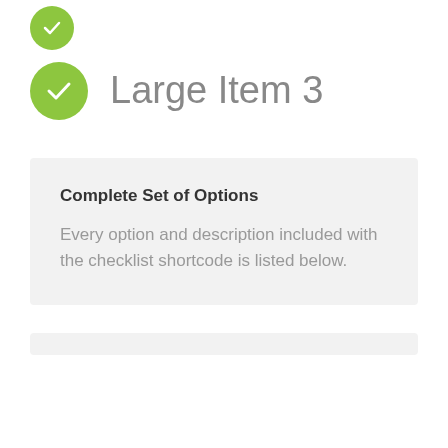Large Item 3
Complete Set of Options
Every option and description included with the checklist shortcode is listed below.